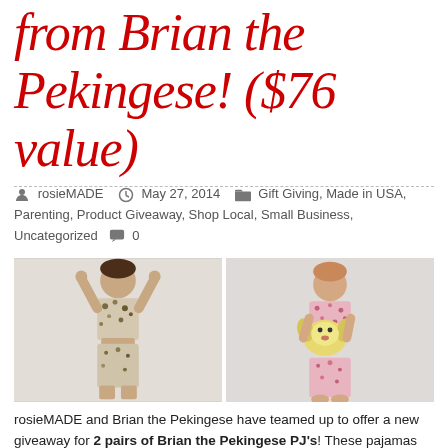from Brian the Pekingese! ($76 value)
rosieMADE   May 27, 2014   Gift Giving, Made in USA, Parenting, Product Giveaway, Shop Local, Small Business, Uncategorized   0
[Figure (photo): Two children wearing pajamas — left child in animal-print PJs with arms raised, right child in floral pink PJs holding a stuffed dog toy]
rosieMADE and Brian the Pekingese have teamed up to offer a new giveaway for 2 pairs of Brian the Pekingese PJ's! These pajamas are made from 100% pre-washed cotton and are made in the USA. The retail value of each pair is $38.00.